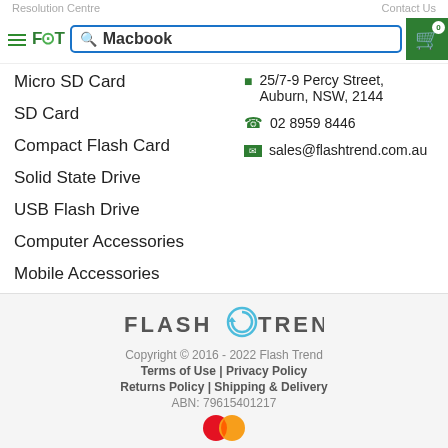Resolution Centre    Contact Us
[Figure (screenshot): Navigation header with hamburger menu, FlashTrend logo, search bar with 'Macbook' query, and green shopping cart button with 0 items]
Micro SD Card
SD Card
Compact Flash Card
Solid State Drive
USB Flash Drive
Computer Accessories
Mobile Accessories
25/7-9 Percy Street, Auburn, NSW, 2144
02 8959 8446
sales@flashtrend.com.au
[Figure (logo): Flash Trend logo with circular arrow icon between FLASH and TREND text]
Copyright © 2016 - 2022 Flash Trend
Terms of Use | Privacy Policy
Returns Policy | Shipping & Delivery
ABN: 79615401217